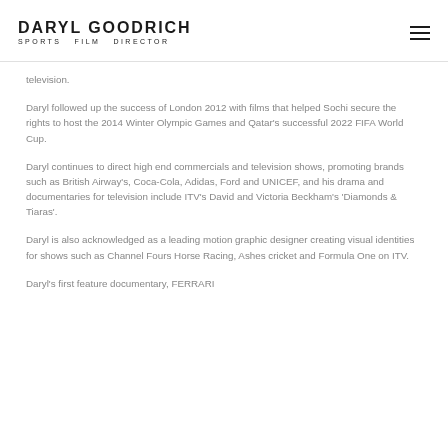DARYL GOODRICH SPORTS FILM DIRECTOR
television.
Daryl followed up the success of London 2012 with films that helped Sochi secure the rights to host the 2014 Winter Olympic Games and Qatar's successful 2022 FIFA World Cup.
Daryl continues to direct high end commercials and television shows, promoting brands such as British Airway's, Coca-Cola, Adidas, Ford and UNICEF, and his drama and documentaries for television include ITV's David and Victoria Beckham's 'Diamonds & Tiaras'.
Daryl is also acknowledged as a leading motion graphic designer creating visual identities for shows such as Channel Fours Horse Racing, Ashes cricket and Formula One on ITV.
Daryl's first feature documentary, FERRARI